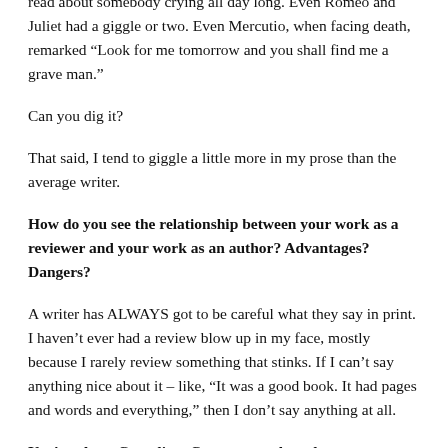read about somebody crying all day long. Even Romeo and Juliet had a giggle or two. Even Mercutio, when facing death, remarked “Look for me tomorrow and you shall find me a grave man.”
Can you dig it?
That said, I tend to giggle a little more in my prose than the average writer.
How do you see the relationship between your work as a reviewer and your work as an author? Advantages? Dangers?
A writer has ALWAYS got to be careful what they say in print. I haven’t ever had a review blow up in my face, mostly because I rarely review something that stinks. If I can’t say anything nice about it – like, “It was a good book. It had pages and words and everything,” then I don’t say anything at all.
You’re also a Canadian. Can you speak to that